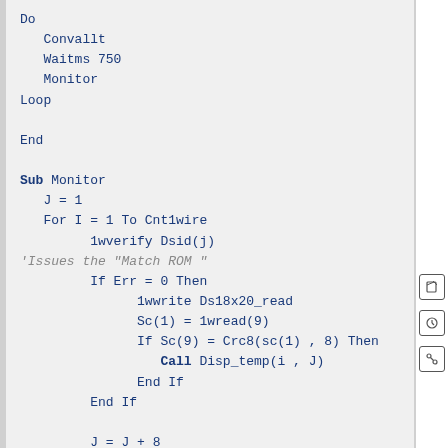Do
   Convallt
   Waitms 750
   Monitor
Loop

End

Sub Monitor
   J = 1
   For I = 1 To Cnt1wire
         1wverify Dsid(j)
'Issues the "Match ROM "
         If Err = 0 Then
               1wwrite Ds18x20_read
               Sc(1) = 1wread(9)
               If Sc(9) = Crc8(sc(1) , 8) Then
                  Call Disp_temp(i , J)
               End If
         End If

         J = J + 8

   Next
End Sub